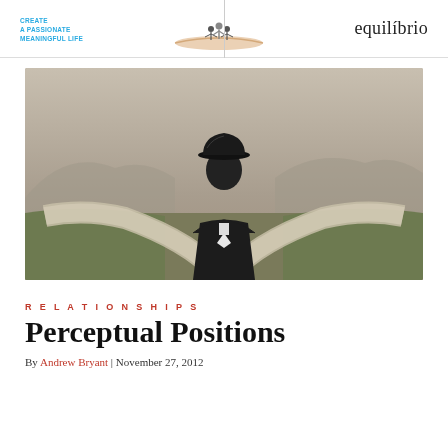CREATE A PASSIONATE MEANINGFUL LIFE | equilibrio
[Figure (photo): Man in black suit and bowler hat seen from behind, standing at a fork in the road with misty mountains in background]
RELATIONSHIPS
Perceptual Positions
By Andrew Bryant | November 27, 2012